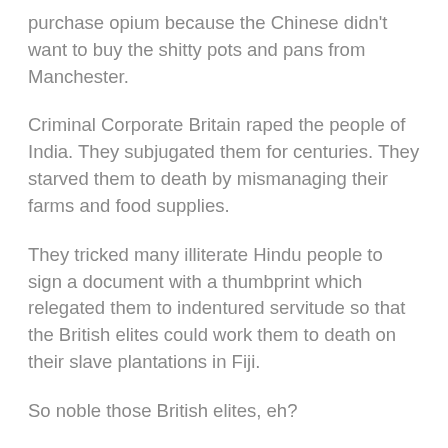purchase opium because the Chinese didn't want to buy the shitty pots and pans from Manchester.
Criminal Corporate Britain raped the people of India. They subjugated them for centuries. They starved them to death by mismanaging their farms and food supplies.
They tricked many illiterate Hindu people to sign a document with a thumbprint which relegated them to indentured servitude so that the British elites could work them to death on their slave plantations in Fiji.
So noble those British elites, eh?
That's why you see people from India in South